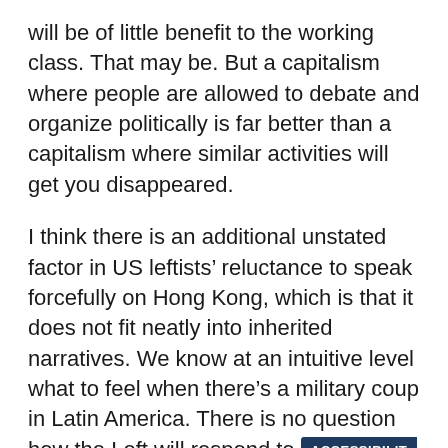will be of little benefit to the working class. That may be. But a capitalism where people are allowed to debate and organize politically is far better than a capitalism where similar activities will get you disappeared.

I think there is an additional unstated factor in US leftists’ reluctance to speak forcefully on Hong Kong, which is that it does not fit neatly into inherited narratives. We know at an intuitive level what to feel when there’s a military coup in Latin America. There is no question how the Left will respond to [ACCESSIBILITY] atrocities the next time they bomb Gaza.